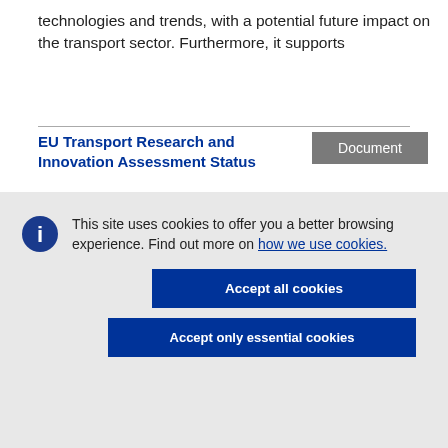technologies and trends, with a potential future impact on the transport sector. Furthermore, it supports
EU Transport Research and Innovation Assessment Status
Document
This site uses cookies to offer you a better browsing experience. Find out more on how we use cookies.
Accept all cookies
Accept only essential cookies